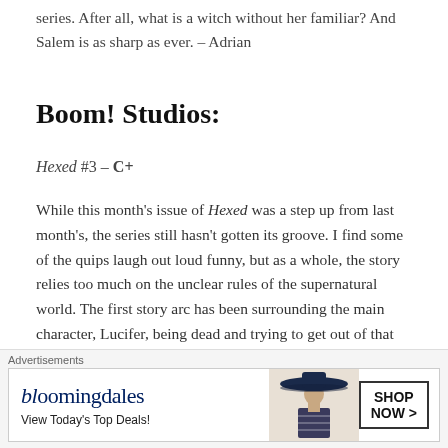series. After all, what is a witch without her familiar? And Salem is as sharp as ever. – Adrian
Boom! Studios:
Hexed #3 – C+
While this month's issue of Hexed was a step up from last month's, the series still hasn't gotten its groove. I find some of the quips laugh out loud funny, but as a whole, the story relies too much on the unclear rules of the supernatural world. The first story arc has been surrounding the main character, Lucifer, being dead and trying to get out of that seemingly permanent
Advertisements
[Figure (other): Bloomingdale's advertisement banner: logo text 'bloomingdales', tagline 'View Today's Top Deals!', image of woman in wide-brim hat, 'SHOP NOW >' button]